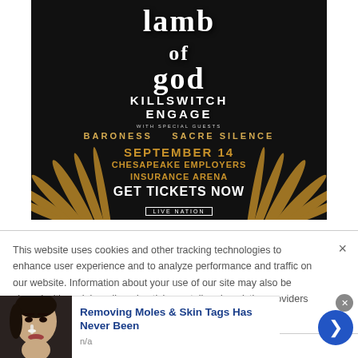[Figure (illustration): Concert advertisement for Lamb of God and Killswitch Engage at Chesapeake Employers Insurance Arena on September 14. Features dark background with gold wing decorations. Special guests Baroness and Sacre Silence. Get Tickets Now via Live Nation.]
This website uses cookies and other tracking technologies to enhance user experience and to analyze performance and traffic on our website. Information about your use of our site may also be shared with social media, advertising, retail and analytics providers and partners. Privacy Policy
[Figure (photo): Close-up photo of a woman with a skin care product near her nose]
Removing Moles & Skin Tags Has Never Been
n/a